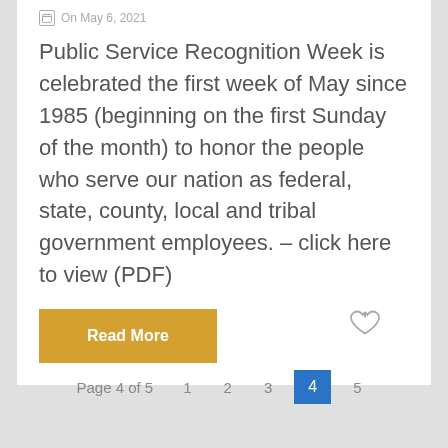On May 6, 2021
Public Service Recognition Week is celebrated the first week of May since 1985 (beginning on the first Sunday of the month) to honor the people who serve our nation as federal, state, county, local and tribal government employees. – click here to view (PDF)
Read More
Page 4 of 5   1   2   3   4   5